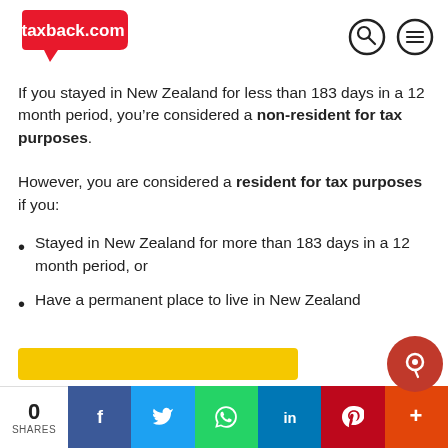taxback.com
If you stayed in New Zealand for less than 183 days in a 12 month period, you’re considered a non-resident for tax purposes.
However, you are considered a resident for tax purposes if you:
Stayed in New Zealand for more than 183 days in a 12 month period, or
Have a permanent place to live in New Zealand
0 SHARES